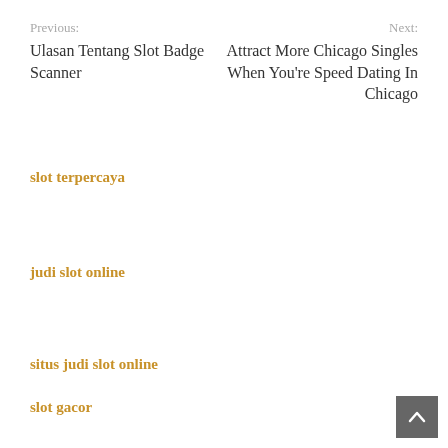Previous: Ulasan Tentang Slot Badge Scanner | Next: Attract More Chicago Singles When You're Speed Dating In Chicago
slot terpercaya
judi slot online
situs judi slot online
slot gacor